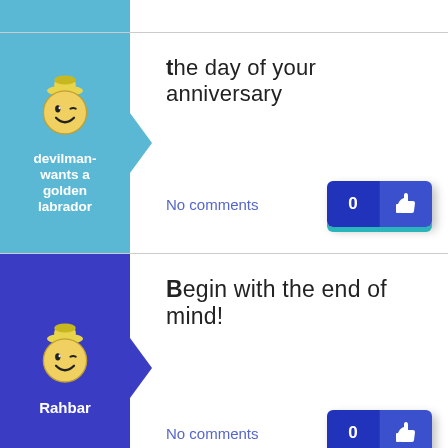the day of your anniversary
devilman-wants a golden labrador
No comments
Begin with the end of mind!
Rahbar
No comments